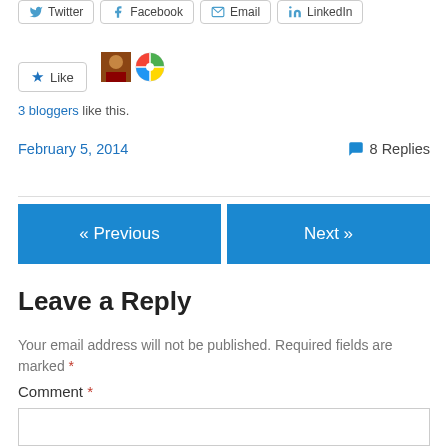[Figure (screenshot): Social share buttons row: Twitter, Facebook, Email, LinkedIn]
[Figure (screenshot): Like button with star icon and two blogger avatars]
3 bloggers like this.
February 5, 2014
8 Replies
« Previous
Next »
Leave a Reply
Your email address will not be published. Required fields are marked *
Comment *